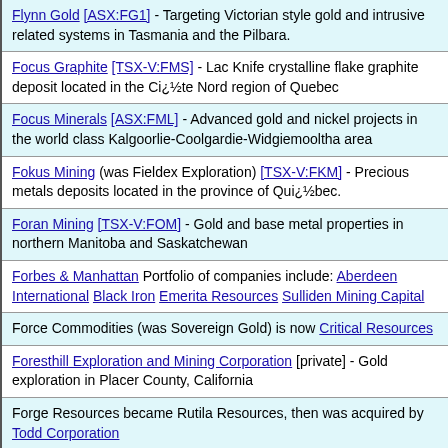Flynn Gold [ASX:FG1] - Targeting Victorian style gold and intrusive related systems in Tasmania and the Pilbara.
Focus Graphite [TSX-V:FMS] - Lac Knife crystalline flake graphite deposit located in the Côte Nord region of Quebec
Focus Minerals [ASX:FML] - Advanced gold and nickel projects in the world class Kalgoorlie-Coolgardie-Widgiemooltha area
Fokus Mining (was Fieldex Exploration) [TSX-V:FKM] - Precious metals deposits located in the province of Québec.
Foran Mining [TSX-V:FOM] - Gold and base metal properties in northern Manitoba and Saskatchewan
Forbes & Manhattan Portfolio of companies include: Aberdeen International Black Iron Emerita Resources Sulliden Mining Capital
Force Commodities (was Sovereign Gold) is now Critical Resources
Foresthill Exploration and Mining Corporation [private] - Gold exploration in Placer County, California
Forge Resources became Rutila Resources, then was acquired by Todd Corporation
Formation Capital became eCobalt Solutions, now Jervois Mining